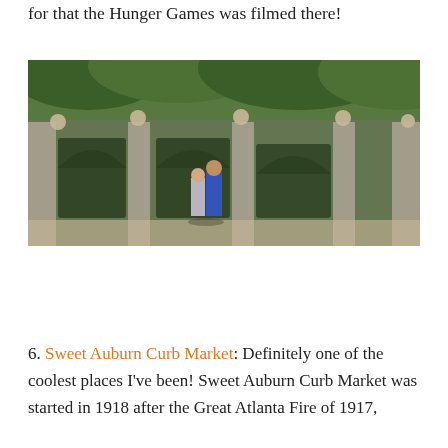for that the Hunger Games was filmed there!
[Figure (photo): Two people standing in front of a large ivy-covered stone wall with three arched alcoves, surrounded by trees and green foliage.]
6. Sweet Auburn Curb Market: Definitely one of the coolest places I've been! Sweet Auburn Curb Market was started in 1918 after the Great Atlanta Fire of 1917,